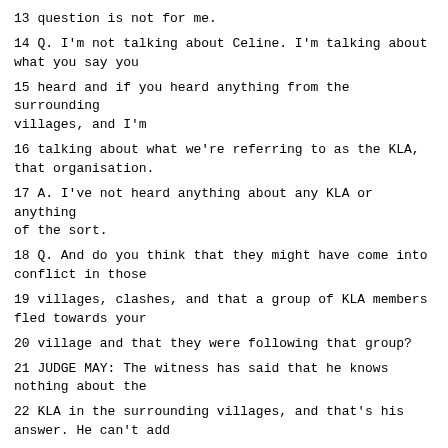13 question is not for me.
14 Q. I'm not talking about Celine. I'm talking about what you say you
15 heard and if you heard anything from the surrounding villages, and I'm
16 talking about what we're referring to as the KLA, that organisation.
17 A. I've not heard anything about any KLA or anything of the sort.
18 Q. And do you think that they might have come into conflict in those
19 villages, clashes, and that a group of KLA members fled towards your
20 village and that they were following that group?
21 JUDGE MAY: The witness has said that he knows nothing about the
22 KLA in the surrounding villages, and that's his answer. He can't add
23 anything to that.
24 THE ACCUSED: [Interpretation] Well, the witness